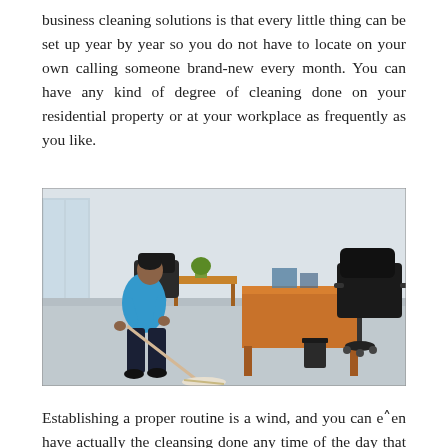business cleaning solutions is that every little thing can be set up year by year so you do not have to locate on your own calling someone brand-new every month. You can have any kind of degree of cleaning done on your residential property or at your workplace as frequently as you like.
[Figure (photo): A person in a blue shirt and dark pants mopping a light gray office floor. In the background are black leather chairs, an orange/wood desk, a black office chair, and a small potted plant on a wooden side table. The setting is a modern office environment with large windows letting in natural light.]
Establishing a proper routine is a wind, and you can even have actually the cleansing done any time of the day that is most hassle-free for you. Adaptability is important for an